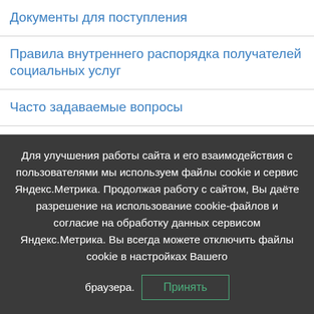Документы для поступления
Правила внутреннего распорядка получателей социальных услуг
Часто задаваемые вопросы
Тарифы
Реализация 442-ФЗ
Законодательство
Доступная среда
Для улучшения работы сайта и его взаимодействия с пользователями мы используем файлы cookie и сервис Яндекс.Метрика. Продолжая работу с сайтом, Вы даёте разрешение на использование cookie-файлов и согласие на обработку данных сервисом Яндекс.Метрика. Вы всегда можете отключить файлы cookie в настройках Вашего браузера. Принять